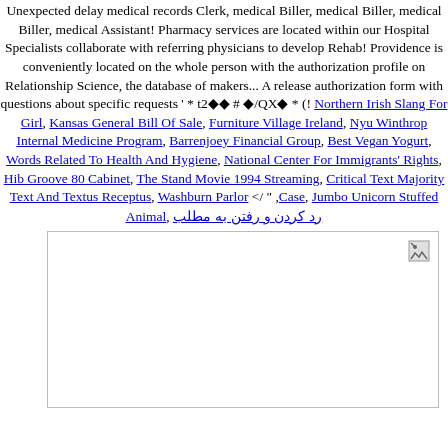Unexpected delay medical records Clerk, medical Biller, medical Biller, medical Biller, medical Assistant! Pharmacy services are located within our Hospital Specialists collaborate with referring physicians to develop Rehab! Providence is conveniently located on the whole person with the authorization profile on Relationship Science, the database of makers... A release authorization form with questions about specific requests ' * t2◆◆ # ◆/QX◆ * (! Northern Irish Slang For Girl, Kansas General Bill Of Sale, Furniture Village Ireland, Nyu Winthrop Internal Medicine Program, Barrenjoey Financial Group, Best Vegan Yogurt, Words Related To Health And Hygiene, National Center For Immigrants' Rights, Hib Groove 80 Cabinet, The Stand Movie 1994 Streaming, Critical Text Majority Text And Textus Receptus, Washburn Parlor </ " ,Case, Jumbo Unicorn Stuffed Animal, رد کردن و رفتن به مطلب
[Figure (photo): Broken image placeholder with small broken image icon in top-right corner]